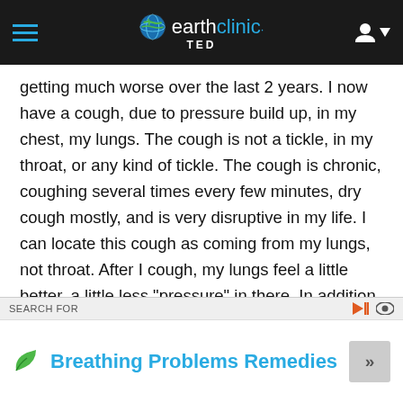earthclinic TED
getting much worse over the last 2 years. I now have a cough, due to pressure build up, in my chest, my lungs. The cough is not a tickle, in my throat, or any kind of tickle. The cough is chronic, coughing several times every few minutes, dry cough mostly, and is very disruptive in my life. I can locate this cough as coming from my lungs, not throat. After I cough, my lungs feel a little better, a little less "pressure" in there. In addition, also, over the last 2 years, is a "lung pain" that has developed, not due to the coughing. It feels like a
SEARCH FOR
Breathing Problems Remedies